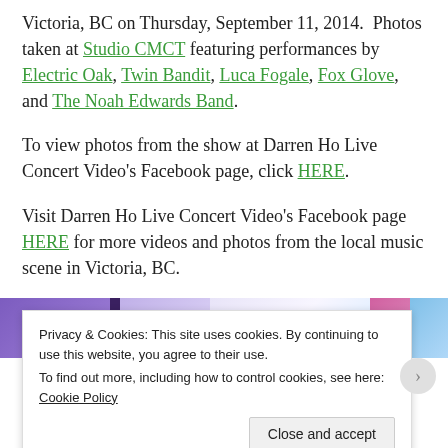Victoria, BC on Thursday, September 11, 2014. Photos taken at Studio CMCT featuring performances by Electric Oak, Twin Bandit, Luca Fogale, Fox Glove, and The Noah Edwards Band.
To view photos from the show at Darren Ho Live Concert Video's Facebook page, click HERE.
Visit Darren Ho Live Concert Video's Facebook page HERE for more videos and photos from the local music scene in Victoria, BC.
[Figure (screenshot): Partial screenshot of a webpage with colorful gradient banner strip]
Privacy & Cookies: This site uses cookies. By continuing to use this website, you agree to their use. To find out more, including how to control cookies, see here: Cookie Policy